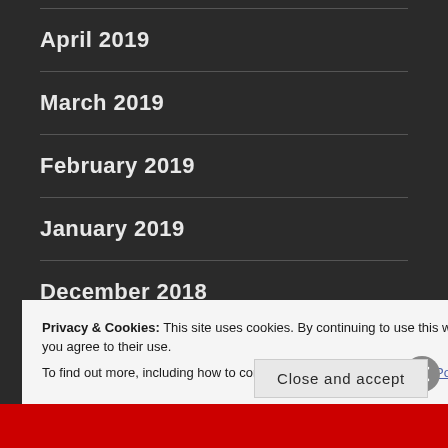April 2019
March 2019
February 2019
January 2019
December 2018
Privacy & Cookies: This site uses cookies. By continuing to use this website, you agree to their use. To find out more, including how to control cookies, see here: Cookie Policy
Close and accept